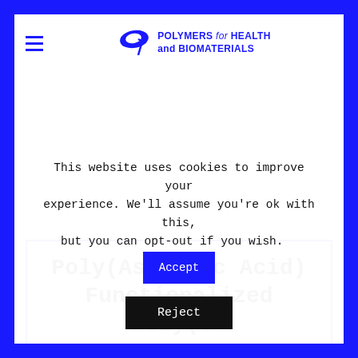POLYMERS for HEALTH and BIOMATERIALS
Poly(Aspartic Acid) Functionalized Poly(e-
This website uses cookies to improve your experience. We'll assume you're ok with this, but you can opt-out if you wish.
Accept
Reject